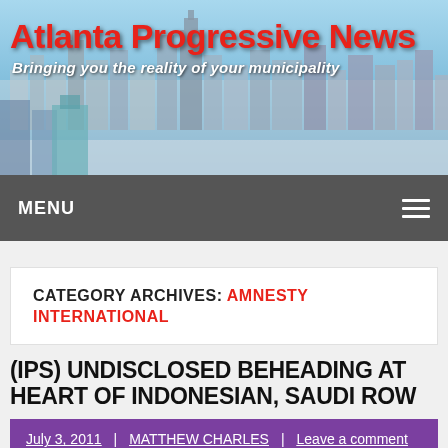[Figure (screenshot): Atlanta city skyline banner header with blue sky background]
Atlanta Progressive News
Bringing you the reality of your municipality
MENU
CATEGORY ARCHIVES: AMNESTY INTERNATIONAL
(IPS) UNDISCLOSED BEHEADING AT HEART OF INDONESIAN, SAUDI ROW
July 3, 2011 | MATTHEW CHARLES | Leave a comment